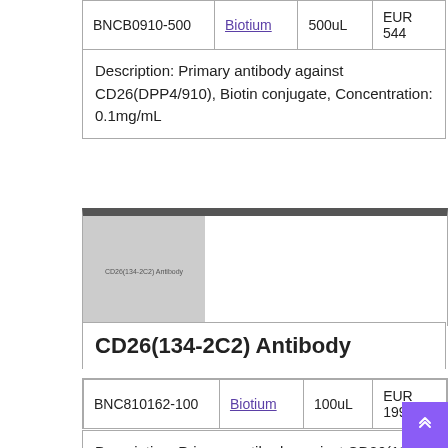| Product ID | Supplier | Volume | Price |
| --- | --- | --- | --- |
| BNCB0910-500 | Biotium | 500uL | EUR 544 |
| Description: Primary antibody against CD26(DPP4/910), Biotin conjugate, Concentration: 0.1mg/mL |  |  |  |
[Figure (photo): Product image placeholder for CD26(134-2C2) Antibody]
CD26(134-2C2) Antibody
| Product ID | Supplier | Volume | Price |
| --- | --- | --- | --- |
| BNC810162-100 | Biotium | 100uL | EUR 199 |
| Description: Primary antibody against CD26(134- |  |  |  |